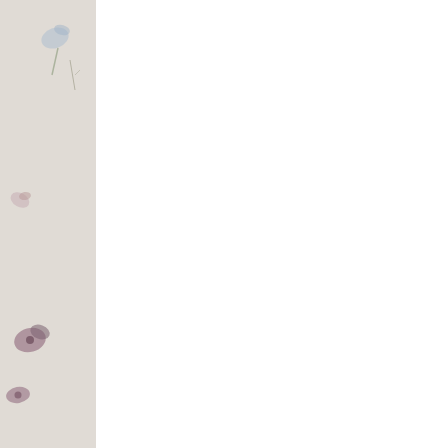[Figure (photo): Left decorative photo strip with pressed flowers and botanical elements on white/grey textured background]
My Life Ne...
The Ruining
[Figure (photo): Book cover of 'My Life Next Door' by Huntley Fitzpatrick — two teens leaning together near a wooden fence, with golden title text]
THURSDAY:
Pages Read Thi...
Pa... d Tod...
...cta...
...M...
Arrow of th...
[Figure (logo): Dark red heart-shaped badge with white text 'UP']